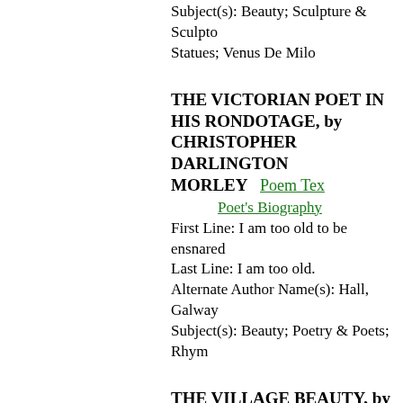Subject(s): Beauty; Sculpture & Sculptors; Statues; Venus De Milo
THE VICTORIAN POET IN HIS RONDOTAGE, by CHRISTOPHER DARLINGTON MORLEY
Poem Text
Poet's Biography
First Line: I am too old to be ensnared
Last Line: I am too old.
Alternate Author Name(s): Hall, Galway
Subject(s): Beauty; Poetry & Poets; Rhym
THE VILLAGE BEAUTY, by PAUL HAMILTON HAYNE
Poem Text
Poet's Biography
First Line: The glowing tints of a tropic e
Last Line: In the midst of the autumn con
Subject(s): Beauty
THE VINEYARD-SAINT, by BAYAR TAYLOR
Poem Text
Poet's Biography